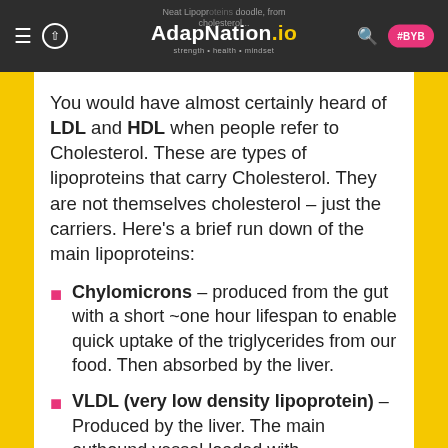AdapNation.io — Neat Lipoproteins doodle, from cholesterol...
You would have almost certainly heard of LDL and HDL when people refer to Cholesterol. These are types of lipoproteins that carry Cholesterol. They are not themselves cholesterol – just the carriers. Here's a brief run down of the main lipoproteins:
Chylomicrons – produced from the gut with a short ~one hour lifespan to enable quick uptake of the triglycerides from our food. Then absorbed by the liver.
VLDL (very low density lipoprotein) – Produced by the liver. The main outbound vessel loaded with Triglycerides, and some Cholesterol and vitamins. Insulin alerts cell...